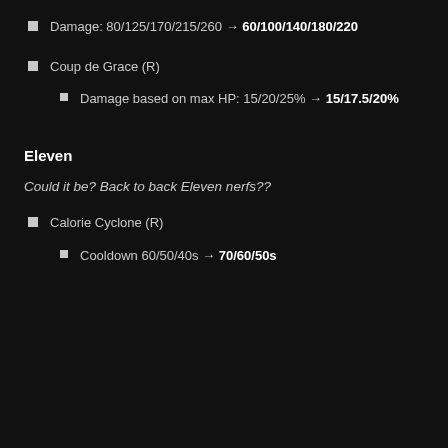Damage: 80/125/170/215/260 → 60/100/140/180/220
Coup de Grace (R)
Damage based on max HP: 15/20/25% → 15/17.5/20%
Eleven
Could it be? Back to back Eleven nerfs??
Calorie Cyclone (R)
Cooldown 60/50/40s → 70/60/50s